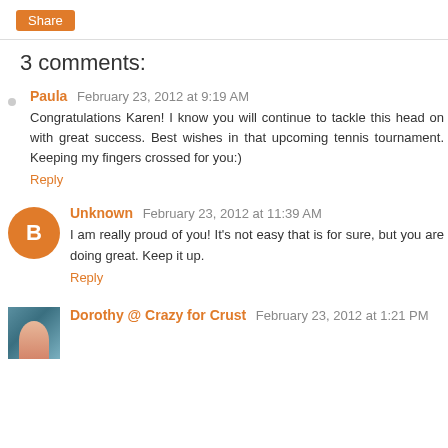Share
3 comments:
Paula  February 23, 2012 at 9:19 AM
Congratulations Karen! I know you will continue to tackle this head on with great success. Best wishes in that upcoming tennis tournament. Keeping my fingers crossed for you:)
Reply
Unknown  February 23, 2012 at 11:39 AM
I am really proud of you! It's not easy that is for sure, but you are doing great. Keep it up.
Reply
Dorothy @ Crazy for Crust  February 23, 2012 at 1:21 PM